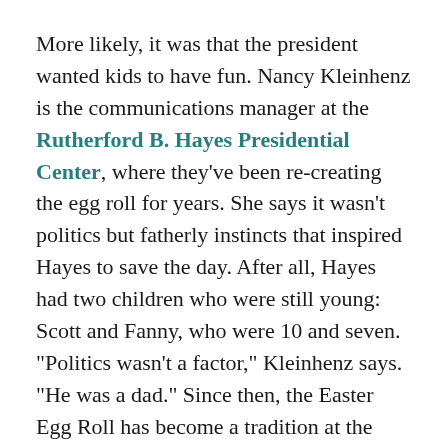More likely, it was that the president wanted kids to have fun. Nancy Kleinhenz is the communications manager at the Rutherford B. Hayes Presidential Center, where they've been re-creating the egg roll for years. She says it wasn't politics but fatherly instincts that inspired Hayes to save the day. After all, Hayes had two children who were still young: Scott and Fanny, who were 10 and seven. "Politics wasn't a factor," Kleinhenz says. "He was a dad." Since then, the Easter Egg Roll has become a tradition at the White House, with only brief pauses during wartime.
The Easter egg roll probably isn't a story about partisan battles. But in Washington, everything becomes political when federal resources are involved — and that includes which lawn gets